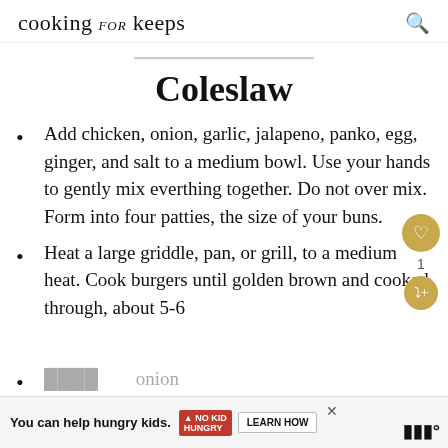cooking for keeps
Coleslaw
Add chicken, onion, garlic, jalapeno, panko, egg, ginger, and salt to a medium bowl. Use your hands to gently mix everthing together. Do not over mix. Form into four patties, the size of your buns.
Heat a large griddle, pan, or grill, to a medium heat. Cook burgers until golden brown and cooked through, about 5-6
You can help hungry kids. NO KID HUNGRY LEARN HOW